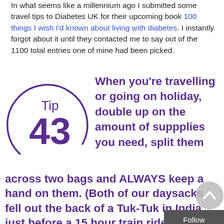In what seems like a millennium ago I submitted some travel tips to Diabetes UK for their upcoming book 100 things I wish I'd known about living with diabetes. I instantly forgot about it until they contacted me to say out of the 1100 total entries one of mine had been picked.
[Figure (infographic): Circular badge on the left showing 'Tip 43' in purple, with large bold purple text on the right and below reading: 'When you're travelling or going on holiday, double up on the amount of suppplies you need, split them across two bags and ALWAYS keep a hand on them. (Both of our daysacks fell out the back of a Tuk-Tuk in India just before a 15 hour train ride!)']